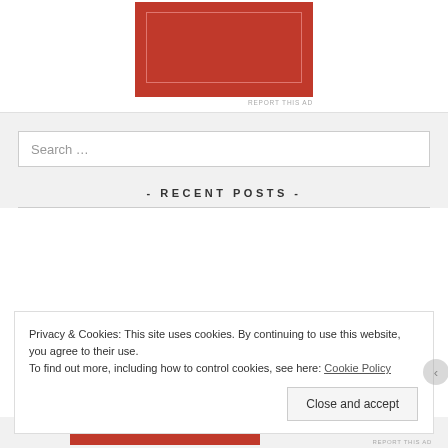[Figure (other): Red advertisement banner with lighter red inner border rectangle]
REPORT THIS AD
Search …
- RECENT POSTS -
Privacy & Cookies: This site uses cookies. By continuing to use this website, you agree to their use.
To find out more, including how to control cookies, see here: Cookie Policy
Close and accept